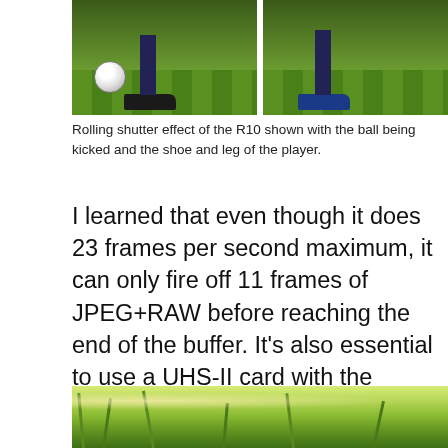[Figure (photo): Split image showing rolling shutter effect of the R10: left panel shows a soccer ball being kicked with shoe and leg, right panel shows the same scene. Both on green grass background.]
Rolling shutter effect of the R10 shown with the ball being kicked and the shoe and leg of the player.
I learned that even though it does 23 frames per second maximum, it can only fire off 11 frames of JPEG+RAW before reaching the end of the buffer. It’s also essential to use a UHS-II card with the fastest write speed you can get your hands on. With a Delkin SD card that has a 250 MB/s write speed, it took 10 seconds to clear a full buffer versus 2.9 seconds it took with a Sony TOUGH G card that has a 299 MB/s write speed.
[Figure (photo): Bottom portion of a photo showing green plants and foliage, partially cropped at page bottom.]